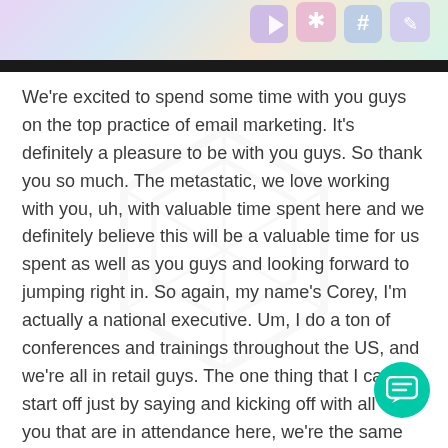[Figure (photo): Top banner showing colorful social media dice/tiles with icons including a hashtag and other symbols, followed by a black bar below]
We're excited to spend some time with you guys on the top practice of email marketing. It's definitely a pleasure to be with you guys. So thank you so much. The metastatic, we love working with you, uh, with valuable time spent here and we definitely believe this will be a valuable time for us spent as well as you guys and looking forward to jumping right in. So again, my name's Corey, I'm actually a national executive. Um, I do a ton of conferences and trainings throughout the US, and we're all in retail guys. The one thing that I can start off just by saying and kicking off with all of you that are in attendance here, we're the same space, right? We're all doing one job. thing. It's just focusing on getting, finding, serving and